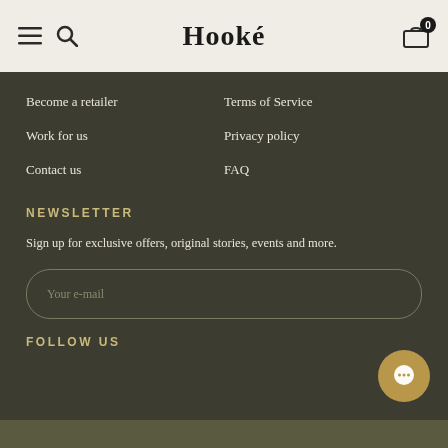Hooké
Become a retailer
Work for us
Contact us
Terms of Service
Privacy policy
FAQ
NEWSLETTER
Sign up for exclusive offers, original stories, events and more.
Your e-mail
FOLLOW US